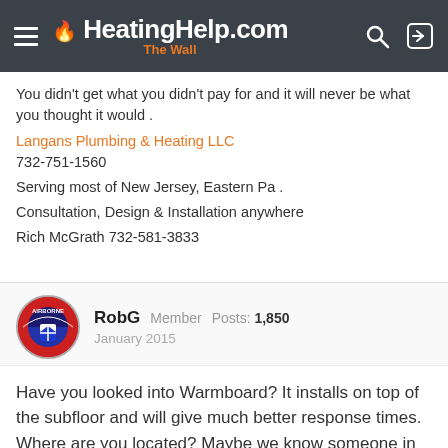HeatingHelp.com The Wall
You didn't get what you didn't pay for and it will never be what you thought it would .
Langans Plumbing & Heating LLC
732-751-1560
Serving most of New Jersey, Eastern Pa .
Consultation, Design & Installation anywhere
Rich McGrath 732-581-3833
RobG   Member   Posts: 1,850
January 2015
Have you looked into Warmboard? It installs on top of the subfloor and will give much better response times. Where are you located? Maybe we know someone in your area who is qualified.